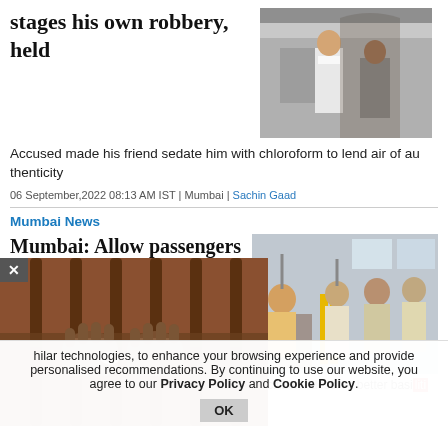stages his own robbery, held
[Figure (photo): CCTV-style image of two people near a doorway, one in white shirt and mask]
Accused made his friend sedate him with chloroform to lend air of authenticity
06 September,2022 08:13 AM IST | Mumbai | Sachin Gaad
Mumbai News
Mumbai: Allow passengers above 75 to travel for free, demands BJP
[Figure (photo): Elderly passengers sitting and standing inside a bus]
[Figure (photo): Hands gripping prison bars - jail popup image]
r citizens deserve better basic liti
hilar technologies, to enhance your browsing experience and provide personalised recommendations. By continuing to use our website, you agree to our Privacy Policy and Cookie Policy.